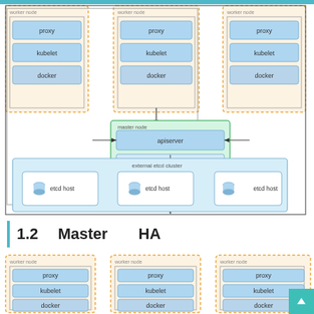[Figure (engineering-diagram): Kubernetes architecture diagram showing three worker nodes (each with proxy, kubelet, docker) connected to a master node (apiserver, controller-manager, scheduler) via arrows, and the master node connected to an external etcd cluster with three etcd hosts.]
1.2 　Master　　　HA
[Figure (engineering-diagram): Partial diagram showing three worker nodes each containing proxy, kubelet, and docker components, cut off at bottom of page.]